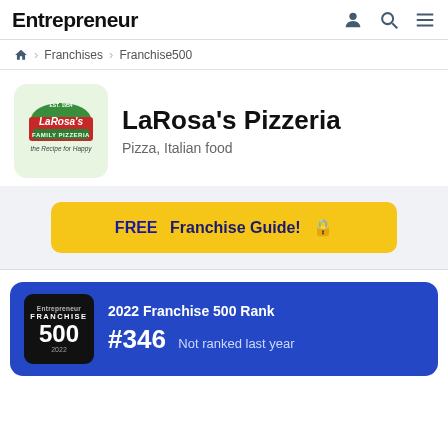Entrepreneur
Franchises > Franchise500
[Figure (logo): LaRosa's Pizzeria logo on green background with the Recipe for Happy tagline]
LaRosa's Pizzeria
Pizza, Italian food
FREE Franchise Guide! →
2022 Franchise 500 Rank #346 Not ranked last year